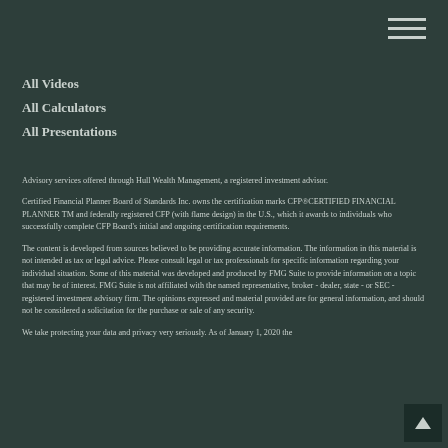hamburger menu icon
All Videos
All Calculators
All Presentations
Advisory services offered through Hull Wealth Management, a registered investment advisor.
Certified Financial Planner Board of Standards Inc. owns the certification marks CFP®CERTIFIED FINANCIAL PLANNER TM and federally registered CFP (with flame design) in the U.S., which it awards to individuals who successfully complete CFP Board's initial and ongoing certification requirements.
The content is developed from sources believed to be providing accurate information. The information in this material is not intended as tax or legal advice. Please consult legal or tax professionals for specific information regarding your individual situation. Some of this material was developed and produced by FMG Suite to provide information on a topic that may be of interest. FMG Suite is not affiliated with the named representative, broker - dealer, state - or SEC - registered investment advisory firm. The opinions expressed and material provided are for general information, and should not be considered a solicitation for the purchase or sale of any security.
We take protecting your data and privacy very seriously. As of January 1, 2020 the